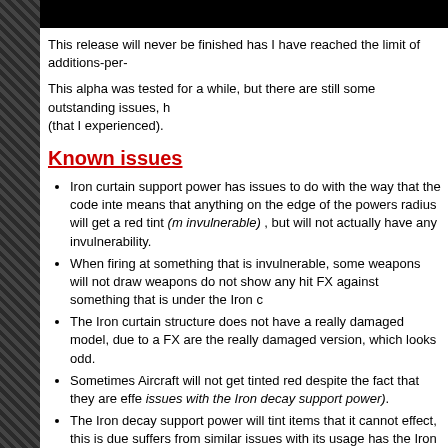This release will never be finished has I have reached the limit of additions-per-
This alpha was tested for a while, but there are still some outstanding issues, h (that I experienced).
Known issues
Iron curtain support power has issues to do with the way that the code inte means that anything on the edge of the powers radius will get a red tint (making it appear invulnerable) , but will not actually have any invulnerability.
When firing at something that is invulnerable, some weapons will not draw weapons do not show any hit FX against something that is under the Iron c
The Iron curtain structure does not have a really damaged model, due to a FX are the really damaged version, which looks odd.
Sometimes Aircraft will not get tinted red despite the fact that they are effe issues with the Iron decay support power).
The Iron decay support power will tint items that it cannot effect, this is due suffers from similar issues with its usage has the Iron curtain.
The Iron decay support power does not seem to have much of an effect. T more pronounced. It is questionable has to whether it works at all vs your own vehicles, but the armour reduction is too subtle).
Badger bomber has Nod Venom voice when dying.
Psychic beacon ability 'reveals' (you can already see them but they flash y enemy units. There is no known way around this.